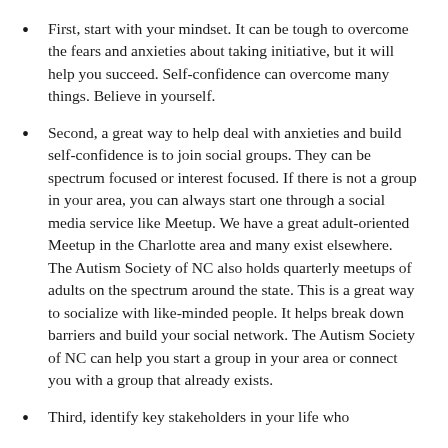First, start with your mindset. It can be tough to overcome the fears and anxieties about taking initiative, but it will help you succeed. Self-confidence can overcome many things. Believe in yourself.
Second, a great way to help deal with anxieties and build self-confidence is to join social groups. They can be spectrum focused or interest focused. If there is not a group in your area, you can always start one through a social media service like Meetup. We have a great adult-oriented Meetup in the Charlotte area and many exist elsewhere. The Autism Society of NC also holds quarterly meetups of adults on the spectrum around the state. This is a great way to socialize with like-minded people. It helps break down barriers and build your social network. The Autism Society of NC can help you start a group in your area or connect you with a group that already exists.
Third, identify key stakeholders in your life who